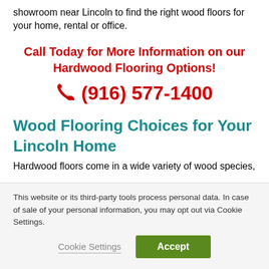showroom near Lincoln to find the right wood floors for your home, rental or office.
Call Today for More Information on our Hardwood Flooring Options!
(916) 577-1400
Wood Flooring Choices for Your Lincoln Home
Hardwood floors come in a wide variety of wood species,
This website or its third-party tools process personal data. In case of sale of your personal information, you may opt out via Cookie Settings.